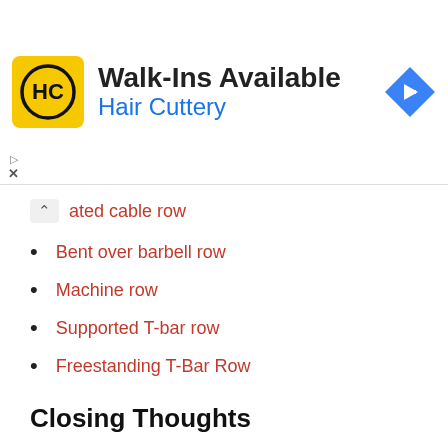[Figure (other): Hair Cuttery advertisement banner with logo, 'Walk-Ins Available' heading, 'Hair Cuttery' subtitle in blue, and a navigation/directions icon]
ated cable row
Bent over barbell row
Machine row
Supported T-bar row
Freestanding T-Bar Row
Closing Thoughts
The inverted row is a staple upper-body pulling movement using body weight. When you gain proficiency, you can elevate your feet on a bench to increase the exercise's difficulty. The steeper the angle, the easier the exercise. The most challenging angle of performance is achieved when the body is